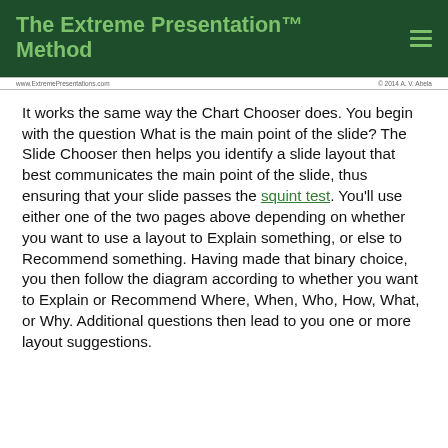The Extreme Presentation™ Method
www.ExtremePresentations.com  © 2014 A. V. Abela
It works the same way the Chart Chooser does. You begin with the question What is the main point of the slide? The Slide Chooser then helps you identify a slide layout that best communicates the main point of the slide, thus ensuring that your slide passes the squint test. You'll use either one of the two pages above depending on whether you want to use a layout to Explain something, or else to Recommend something. Having made that binary choice, you then follow the diagram according to whether you want to Explain or Recommend Where, When, Who, How, What, or Why. Additional questions then lead to you one or more layout suggestions.